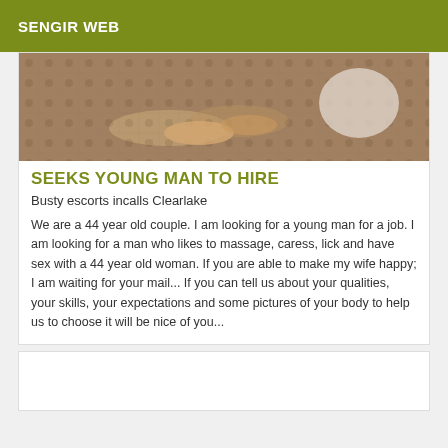SENGIR WEB
[Figure (photo): A close-up photo of feet/hands on a decorative patterned rug or carpet, with a white object visible at the right edge.]
SEEKS YOUNG MAN TO HIRE
Busty escorts incalls Clearlake
We are a 44 year old couple. I am looking for a young man for a job. I am looking for a man who likes to massage, caress, lick and have sex with a 44 year old woman. If you are able to make my wife happy; I am waiting for your mail... If you can tell us about your qualities, your skills, your expectations and some pictures of your body to help us to choose it will be nice of you...